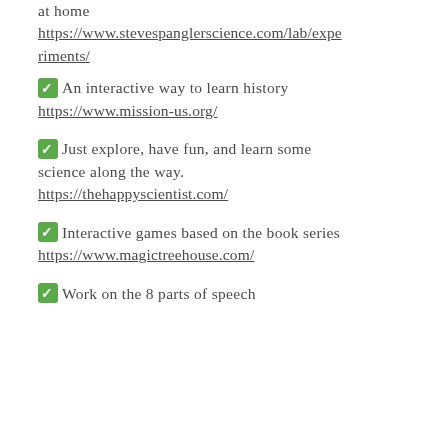at home
https://www.stevespanglerscience.com/lab/experiments/
✅An interactive way to learn history
https://www.mission-us.org/
✅Just explore, have fun, and learn some science along the way.
https://thehappyscientist.com/
✅Interactive games based on the book series
https://www.magictreehouse.com/
✅Work on the 8 parts of speech